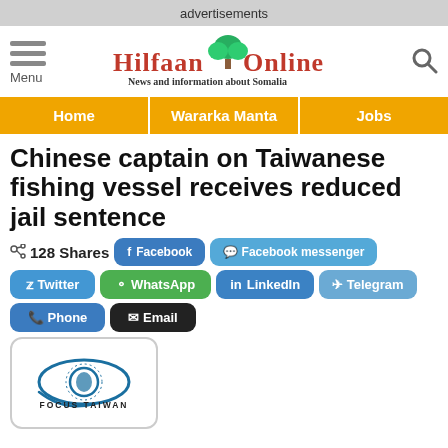advertisements
[Figure (logo): Hilfaan Online logo with tree illustration and subtitle 'News and information about Somalia']
Home | Wararka Manta | Jobs
Chinese captain on Taiwanese fishing vessel receives reduced jail sentence
128 Shares  Facebook  Facebook messenger  Twitter  WhatsApp  LinkedIn  Telegram  Phone  Email
[Figure (logo): Focus Taiwan logo — stylized eye with Taiwan map inside, text 'FOCUS TAIWAN']